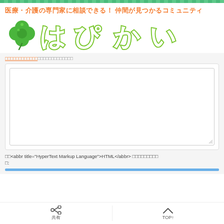medical/nursing community website header stripe
医療・介護の専門家に相談できる！ 仲間が見つかるコミュニティ はぴかい
□□□□□□□□□□□□□□□□□□□□□□□□□
[Figure (screenshot): Text area input box (empty), white with light border and resize handle]
□□<abbr title="HyperText Markup Language">HTML</abbr> □□□□□□□□□□:
共有　TOP↑